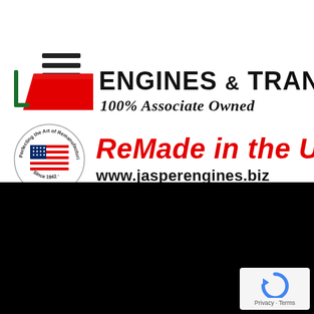[Figure (logo): Hamburger menu icon (three horizontal bars)]
[Figure (logo): Jasper Engines & Transmissions logo with red swoosh and bold text, 100% Associate Owned tagline, circular seal with US flag and 'Perfecting the Art of Remanufacturing Since 1942', ReMade in the USA text in red italic, www.jasperengines.biz website URL]
[Figure (photo): Large black rectangular panel (video or image area)]
[Figure (logo): reCAPTCHA badge with Privacy and Terms text]